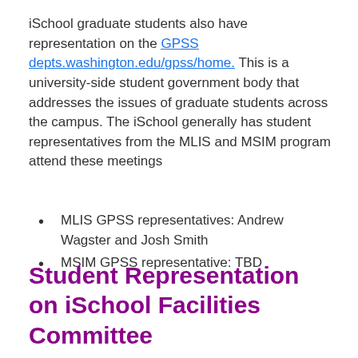iSchool graduate students also have representation on the GPSS depts.washington.edu/gpss/home. This is a university-side student government body that addresses the issues of graduate students across the campus. The iSchool generally has student representatives from the MLIS and MSIM program attend these meetings
MLIS GPSS representatives: Andrew Wagster and Josh Smith
MSIM GPSS representative: TBD
Student Representation on iSchool Facilities Committee